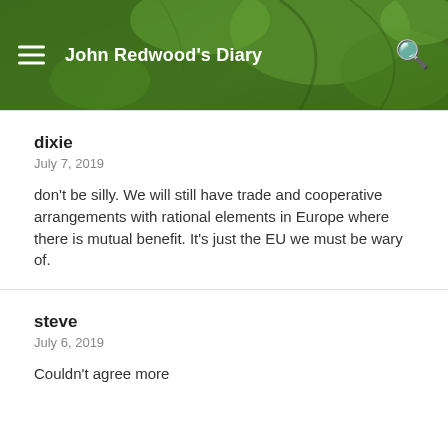John Redwood's Diary
dixie
July 7, 2019
don't be silly. We will still have trade and cooperative arrangements with rational elements in Europe where there is mutual benefit. It's just the EU we must be wary of.
steve
July 6, 2019
Couldn't agree more